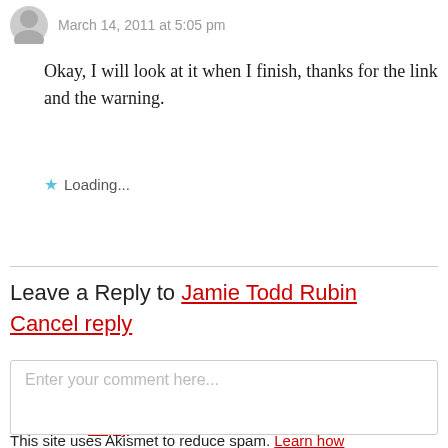March 14, 2011 at 5:05 pm
Okay, I will look at it when I finish, thanks for the link and the warning.
★ Loading...
Reply
Leave a Reply to Jamie Todd Rubin Cancel reply
Enter your comment here...
This site uses Akismet to reduce spam. Learn how